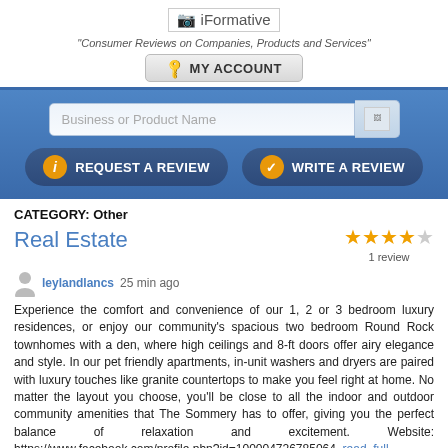[Figure (logo): iFormative logo with broken image placeholder and text]
"Consumer Reviews on Companies, Products and Services"
[Figure (screenshot): MY ACCOUNT button with key icon]
[Figure (screenshot): Blue banner with search box and REQUEST A REVIEW / WRITE A REVIEW buttons]
CATEGORY: Other
Real Estate
[Figure (other): 4 out of 5 stars rating, 1 review]
leylandlancs 25 min ago
Experience the comfort and convenience of our 1, 2 or 3 bedroom luxury residences, or enjoy our community's spacious two bedroom Round Rock townhomes with a den, where high ceilings and 8-ft doors offer airy elegance and style. In our pet friendly apartments, in-unit washers and dryers are paired with luxury touches like granite countertops to make you feel right at home. No matter the layout you choose, you'll be close to all the indoor and outdoor community amenities that The Sommery has to offer, giving you the perfect balance of relaxation and excitement. Website: https://www.facebook.com/profile.php?id=100004726785064 read full